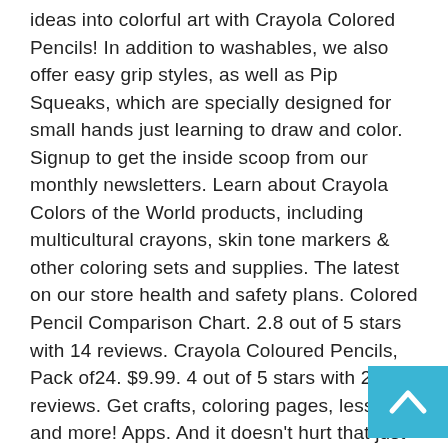ideas into colorful art with Crayola Colored Pencils! In addition to washables, we also offer easy grip styles, as well as Pip Squeaks, which are specially designed for small hands just learning to draw and color. Signup to get the inside scoop from our monthly newsletters. Learn about Crayola Colors of the World products, including multicultural crayons, skin tone markers & other coloring sets and supplies. The latest on our store health and safety plans. Colored Pencil Comparison Chart. 2.8 out of 5 stars with 14 reviews. Crayola Coloured Pencils, Pack of24. $9.99. 4 out of 5 stars with 25 reviews. Get crafts, coloring pages, lessons, and more! Apps. And it doesn't hurt that just about everybody will recognize the trusted Crayola name. Prismacolor Premier 12ct Under the Sea Set Colored Pencils. $19.99. Crayola Colored Pencils are the perfect tools for the young and the young at heart. 4.9 out of 5 stars with 66 reviews. 66. Crayola started colored pencils in 1988, not nearly as long as the